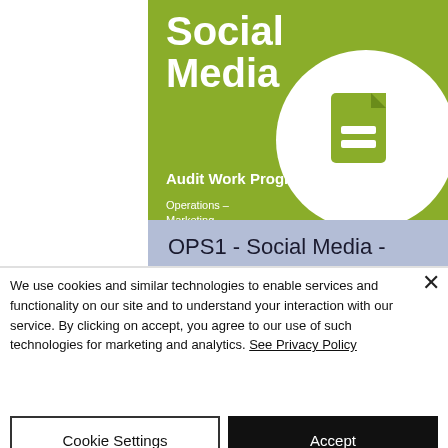[Figure (screenshot): Product card showing 'Social Media Audit Work Program' with green top section containing title text and document icon, and blue-grey lower section with product title 'OPS1 - Social Media - Audit Work Program']
OPS1 - Social Media - Audit Work Program
We use cookies and similar technologies to enable services and functionality on our site and to understand your interaction with our service. By clicking on accept, you agree to our use of such technologies for marketing and analytics. See Privacy Policy
Cookie Settings
Accept